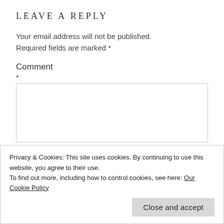LEAVE A REPLY
Your email address will not be published. Required fields are marked *
Comment
*
Privacy & Cookies: This site uses cookies. By continuing to use this website, you agree to their use.
To find out more, including how to control cookies, see here: Our Cookie Policy
Close and accept